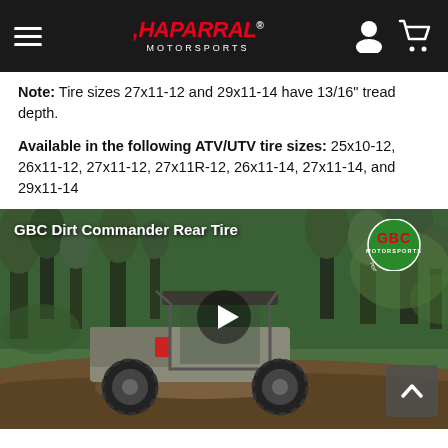Chaparral Motorsports
Note: Tire sizes 27x11-12 and 29x11-14 have 13/16" tread depth.
Available in the following ATV/UTV tire sizes: 25x10-12, 26x11-12, 27x11-12, 27x11R-12, 26x11-14, 27x11-14, and 29x11-14
[Figure (screenshot): Video thumbnail showing GBC Dirt Commander Rear Tire with a UTV vehicle on a dirt trail in a forest. GBC Motorsports logo visible in upper right. Play button in center. Scroll-to-top button in lower right.]